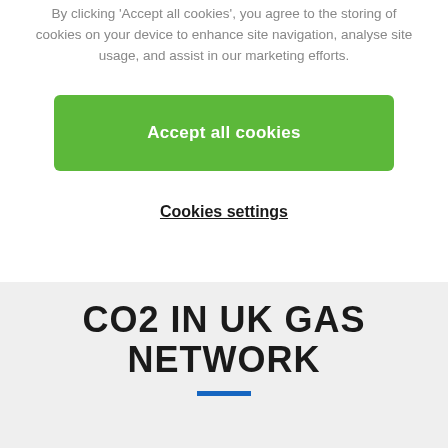By clicking 'Accept all cookies', you agree to the storing of cookies on your device to enhance site navigation, analyse site usage, and assist in our marketing efforts.
Accept all cookies
Cookies settings
CO2 IN UK GAS NETWORK